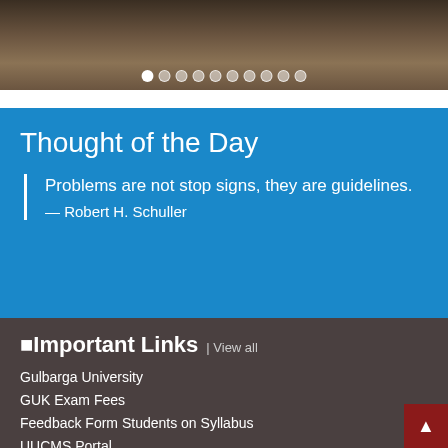[Figure (photo): Computer lab or library interior with wooden desks and equipment, shown as a dark brownish image with carousel navigation dots at the bottom]
Thought of the Day
Problems are not stop signs, they are guidelines.
— Robert H. Schuller
Important Links | View all
Gulbarga University
GUK Exam Fees
Feedback Form Students on Syllabus
UUCMS Portal
LMS Karnataka